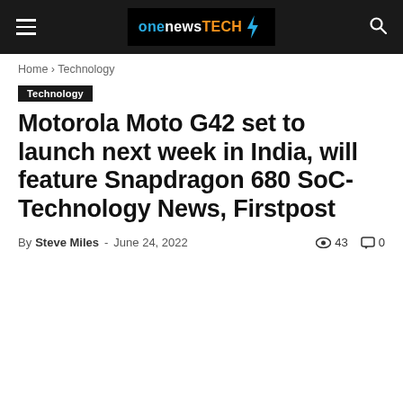onenewsTECH (logo with lightning bolt)
Home › Technology
Technology
Motorola Moto G42 set to launch next week in India, will feature Snapdragon 680 SoC- Technology News, Firstpost
By Steve Miles - June 24, 2022  43  0